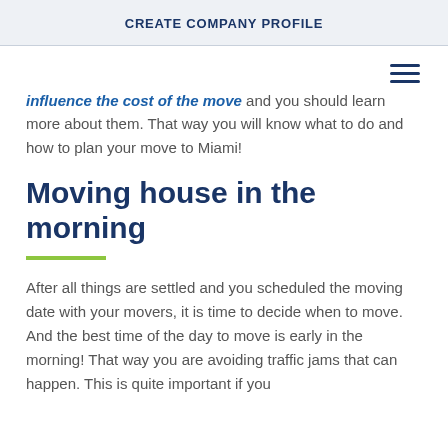CREATE COMPANY PROFILE
influence the cost of the move and you should learn more about them. That way you will know what to do and how to plan your move to Miami!
Moving house in the morning
After all things are settled and you scheduled the moving date with your movers, it is time to decide when to move. And the best time of the day to move is early in the morning! That way you are avoiding traffic jams that can happen. This is quite important if you